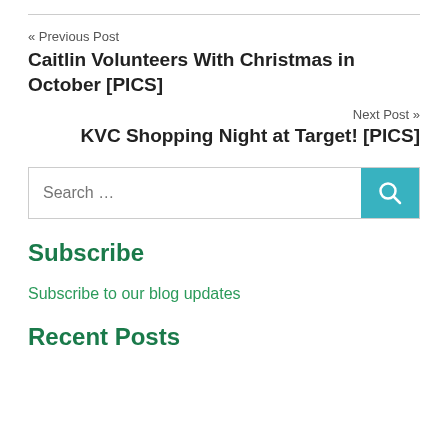« Previous Post
Caitlin Volunteers With Christmas in October [PICS]
Next Post »
KVC Shopping Night at Target! [PICS]
Search …
Subscribe
Subscribe to our blog updates
Recent Posts